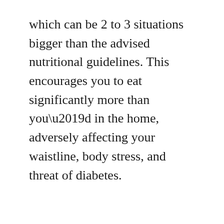which can be 2 to 3 situations bigger than the advised nutritional guidelines. This encourages you to eat significantly more than you’d in the home, adversely affecting your waistline, body stress, and threat of diabetes.